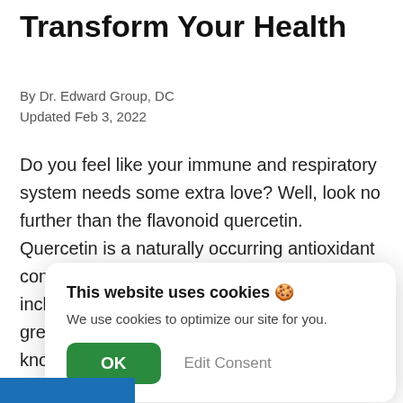Transform Your Health
By Dr. Edward Group, DC
Updated Feb 3, 2022
Do you feel like your immune and respiratory system needs some extra love? Well, look no further than the flavonoid quercetin. Quercetin is a naturally occurring antioxidant commonly found in fruits and vegetables, including dark berries, grapes, and dark leafy greens! Green tea and red wine are also known to have notable amounts of quercetin. This potent antioxidant not only b... h... to... in...
[Figure (screenshot): Cookie consent popup overlay with title 'This website uses cookies 🍪', description 'We use cookies to optimize our site for you.', and two buttons: green 'OK' button and grey 'Edit Consent' button.]